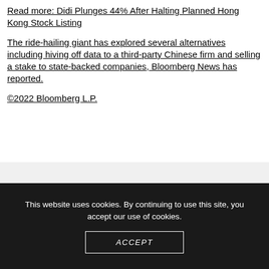Read more: Didi Plunges 44% After Halting Planned Hong Kong Stock Listing
The ride-hailing giant has explored several alternatives including hiving off data to a third-party Chinese firm and selling a stake to state-backed companies, Bloomberg News has reported.
©2022 Bloomberg L.P.
This website uses cookies. By continuing to use this site, you accept our use of cookies.
ACCEPT